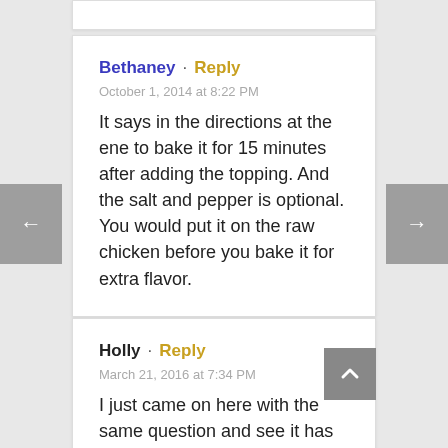Bethaney · Reply
October 1, 2014 at 8:22 PM
It says in the directions at the ene to bake it for 15 minutes after adding the topping. And the salt and pepper is optional. You would put it on the raw chicken before you bake it for extra flavor.
Holly · Reply
March 21, 2016 at 7:34 PM
I just came on here with the same question and see it has